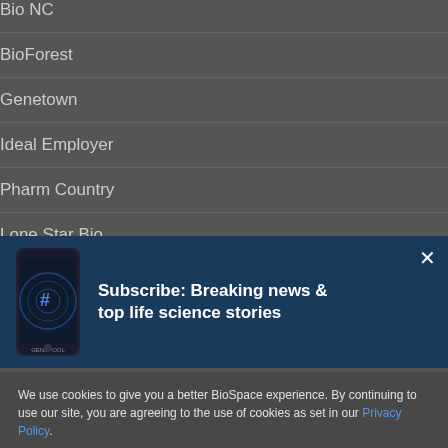Bio NC
BioForest
Genetown
Ideal Employer
Pharm Country
Lone Star Bio
[Figure (screenshot): Subscribe banner with phone image showing Genepool app and text: Subscribe: Breaking news & top life science stories]
We use cookies to give you a better BioSpace experience. By continuing to use our site, you are agreeing to the use of cookies as set in our Privacy Policy.
Accept